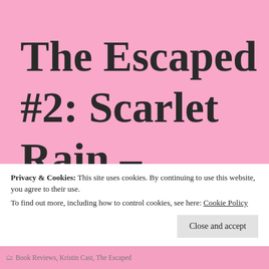The Escaped #2: Scarlet Rain –
Privacy & Cookies: This site uses cookies. By continuing to use this website, you agree to their use.
To find out more, including how to control cookies, see here: Cookie Policy
Close and accept
Book Reviews, Kristin Cast, The Escaped